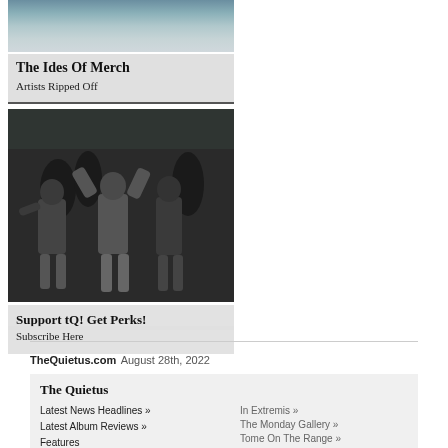[Figure (photo): Partial top image for 'The Ides Of Merch - Artists Ripped Off' card, showing a fade/sky-like background]
The Ides Of Merch
Artists Ripped Off
[Figure (photo): Black and white photo of people dancing at a party/concert]
Support tQ! Get Perks!
Subscribe Here
TheQuietus.com August 28th, 2022
The Quietus
Latest News Headlines »
Latest Album Reviews »
Features
In Extremis »
The Monday Gallery »
Tome On The Range »
Quietus Artists Of 2008 »
Remember Them... »